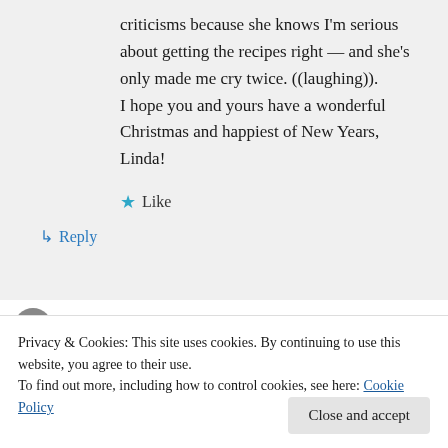criticisms because she knows I'm serious about getting the recipes right — and she's only made me cry twice. ((laughing)). I hope you and yours have a wonderful Christmas and happiest of New Years, Linda!
★ Like
↳ Reply
Privacy & Cookies: This site uses cookies. By continuing to use this website, you agree to their use. To find out more, including how to control cookies, see here: Cookie Policy
Close and accept
deed so that we can enjoy the fish. Never had